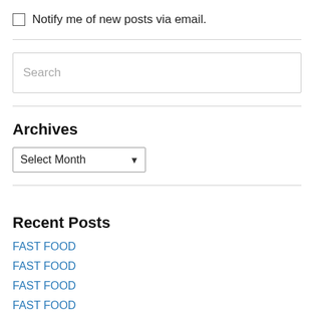Notify me of new posts via email.
[Figure (screenshot): Search input box with placeholder text 'Search']
Archives
[Figure (screenshot): Dropdown select element with 'Select Month' option]
Recent Posts
FAST FOOD
FAST FOOD
FAST FOOD
FAST FOOD
FAST FOOD